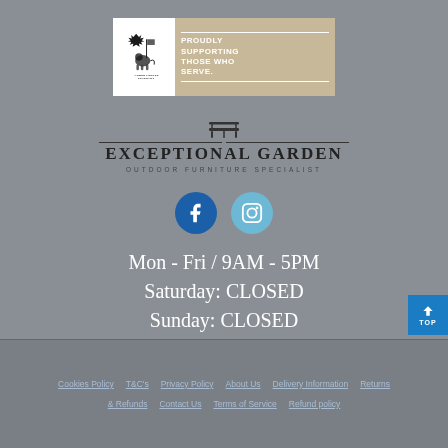[Figure (logo): Armed Forces Covenant logo with lion holding flag, text 'PROUDLY SUPPORTING THOSE WHO SERVE.']
[Figure (logo): Exceptional Garden - Outdoor Furniture Specialist logo with bench icon and horizontal lines]
[Figure (logo): Facebook and Instagram social media icons (circular buttons)]
Mon - Fri / 9AM - 5PM
Saturday: CLOSED
Sunday: CLOSED
Cookies Policy  T&C's  Privacy Policy  About Us  Delivery Information  Returns & Refunds  Contact Us  Terms of Service  Refund policy